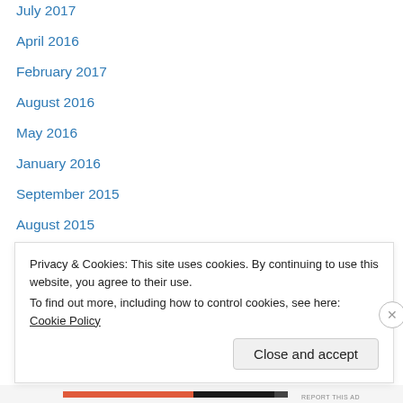July 2017
April 2016
February 2017
August 2016
May 2016
January 2016
September 2015
August 2015
July 2015
June 2015
March 2015
February 2015
January 2015
Privacy & Cookies: This site uses cookies. By continuing to use this website, you agree to their use. To find out more, including how to control cookies, see here: Cookie Policy
Close and accept